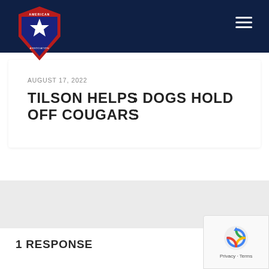American Association
AUGUST 17, 2022
TILSON HELPS DOGS HOLD OFF COUGARS
1 RESPONSE